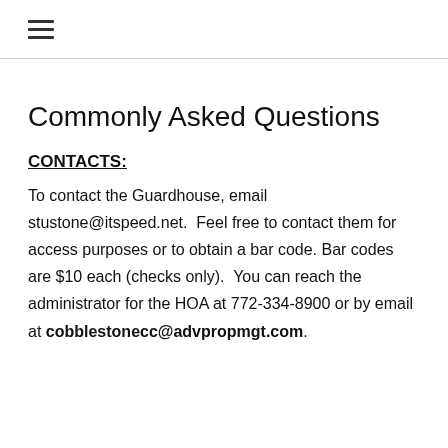☰
Commonly Asked Questions
CONTACTS:
To contact the Guardhouse, email stustone@itspeed.net.  Feel free to contact them for access purposes or to obtain a bar code. Bar codes are $10 each (checks only).  You can reach the administrator for the HOA at 772-334-8900 or by email at cobblestonecc@advpropmgt.com.